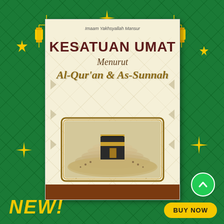[Figure (illustration): Book cover promotional image with Islamic theme on green background. The book cover shows title 'KESATUAN UMAT Menurut Al-Qur'an & As-Sunnah' by Imaam Yakhsyallah Mansur, with an image of Kaaba and pilgrims at Mecca. Green background has Islamic geometric pattern, gold hanging lanterns, gold stars, 'NEW!' text in yellow italic at bottom left, 'BUY NOW' button at bottom right, and a green up-arrow circle button.]